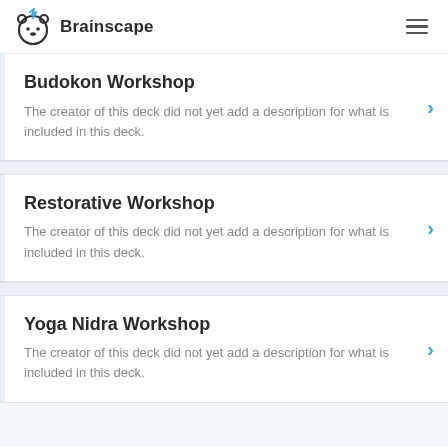Brainscape
Budokon Workshop
The creator of this deck did not yet add a description for what is included in this deck.
Restorative Workshop
The creator of this deck did not yet add a description for what is included in this deck.
Yoga Nidra Workshop
The creator of this deck did not yet add a description for what is included in this deck.